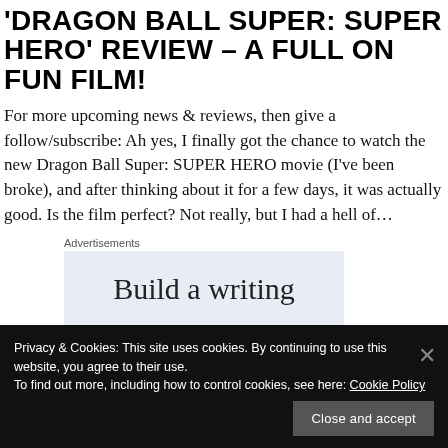'DRAGON BALL SUPER: SUPER HERO' REVIEW – A FULL ON FUN FILM!
For more upcoming news & reviews, then give a follow/subscribe: Ah yes, I finally got the chance to watch the new Dragon Ball Super: SUPER HERO movie (I've been broke), and after thinking about it for a few days, it was actually good. Is the film perfect? Not really, but I had a hell of…
Advertisements
[Figure (other): Advertisement box with text 'Build a writing']
Privacy & Cookies: This site uses cookies. By continuing to use this website, you agree to their use.
To find out more, including how to control cookies, see here: Cookie Policy